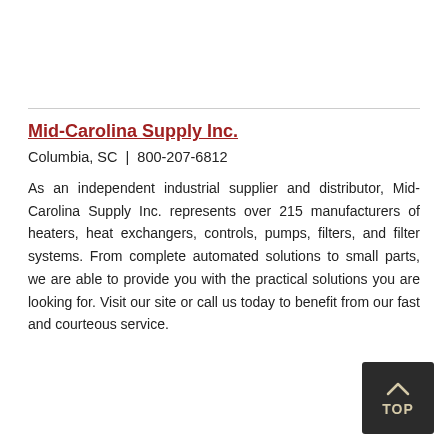Mid-Carolina Supply Inc.
Columbia, SC  |  800-207-6812
As an independent industrial supplier and distributor, Mid-Carolina Supply Inc. represents over 215 manufacturers of heaters, heat exchangers, controls, pumps, filters, and filter systems. From complete automated solutions to small parts, we are able to provide you with the practical solutions you are looking for. Visit our site or call us today to benefit from our fast and courteous service.